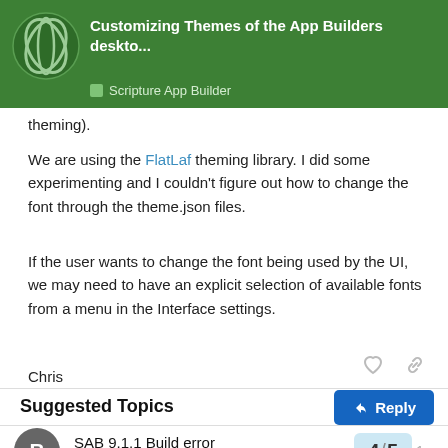Customizing Themes of the App Builders deskto... | Scripture App Builder
theming).
We are using the FlatLaf theming library. I did some experimenting and I couldn't figure out how to change the font through the theme.json files.
If the user wants to change the font being used by the UI, we may need to have an explicit selection of available fonts from a menu in the Interface settings.
Chris
Suggested Topics
SAB 9.1.1 Build error
Scripture App Builder